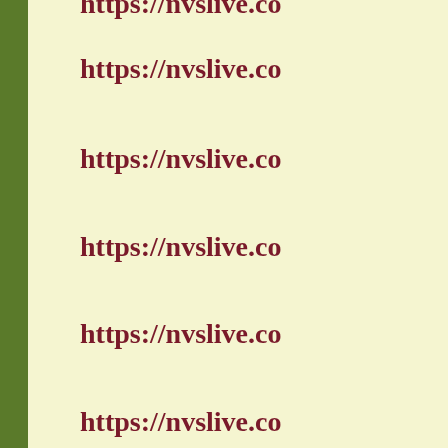https://nvslive.co
https://nvslive.co
https://nvslive.co
https://nvslive.co
https://nvslive.co
https://nvslive.co